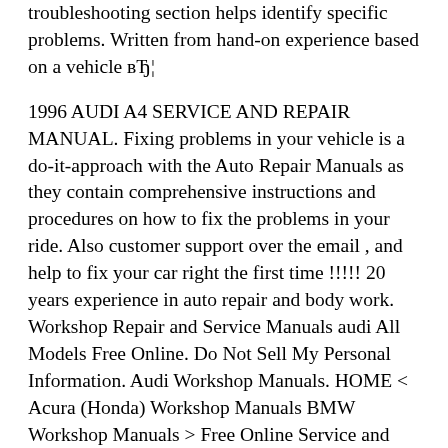troubleshooting section helps identify specific problems. Written from hand-on experience based on a vehicle вЂ¦
1996 AUDI A4 SERVICE AND REPAIR MANUAL. Fixing problems in your vehicle is a do-it-approach with the Auto Repair Manuals as they contain comprehensive instructions and procedures on how to fix the problems in your ride. Also customer support over the email , and help to fix your car right the first time !!!!! 20 years experience in auto repair and body work. Workshop Repair and Service Manuals audi All Models Free Online. Do Not Sell My Personal Information. Audi Workshop Manuals. HOME < Acura (Honda) Workshop Manuals BMW Workshop Manuals > Free Online Service and